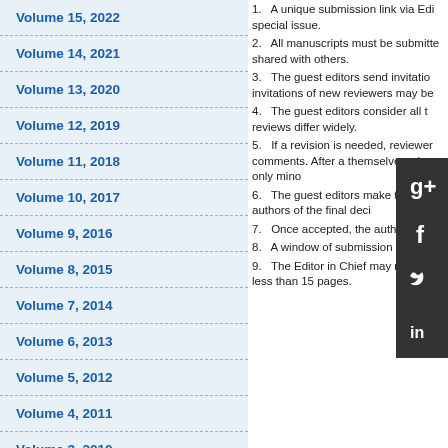Volume 15, 2022
Volume 14, 2021
Volume 13, 2020
Volume 12, 2019
Volume 11, 2018
Volume 10, 2017
Volume 9, 2016
Volume 8, 2015
Volume 7, 2014
Volume 6, 2013
Volume 5, 2012
Volume 4, 2011
Volume 3, 2010
1. A unique submission link via Editorial Manager is provided for the special issue. 2. All manuscripts must be submitted via this link and cannot be shared with others. 3. The guest editors send invitations to reviewers; invitations of new reviewers may be sent... 4. The guest editors consider all the reviews differ widely. 5. If a revision is needed, reviewer comments. After a themselves when only minor... 6. The guest editors make the authors of the final deci... 7. Once accepted, the auth... 8. A window of submission months. 9. The Editor in Chief may notes of less than 15 pages.